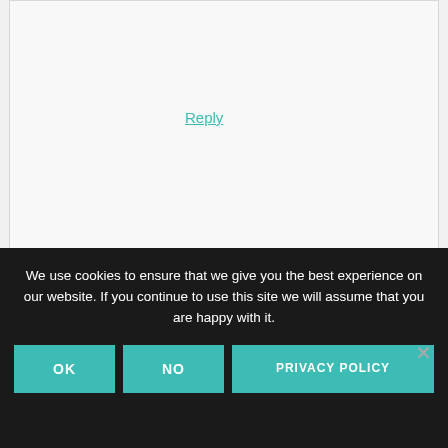Reply
Gail Hollingsworth says
July 10, 2020 at 5:41 pm
[Figure (photo): Avatar photo of Gail Hollingsworth showing pink flowers with orange centers against dark green foliage]
We use cookies to ensure that we give you the best experience on our website. If you continue to use this site we will assume that you are happy with it.
OK
NO
PRIVACY POLICY